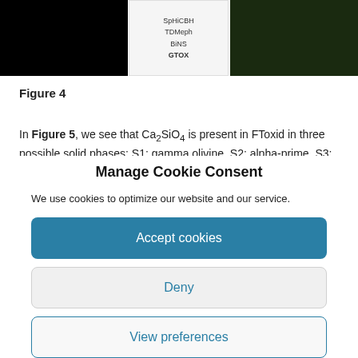[Figure (other): Top strip showing a figure with black image on left, a legend panel in center with labels SpHiCBH, TDMeph, BiNS, GTOX, and a dark green background image on right]
Figure 4
In Figure 5, we see that Ca2SiO4 is present in FToxid in three possible solid phases: S1: gamma olivine, S2: alpha-prime, S3:
Manage Cookie Consent
We use cookies to optimize our website and our service.
Accept cookies
Deny
View preferences